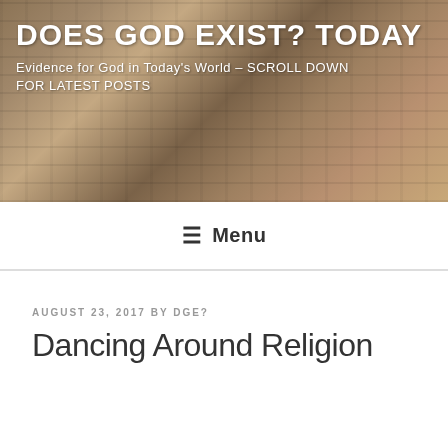DOES GOD EXIST? TODAY
Evidence for God in Today's World – SCROLL DOWN FOR LATEST POSTS
☰ Menu
AUGUST 23, 2017 BY DGE?
Dancing Around Religion